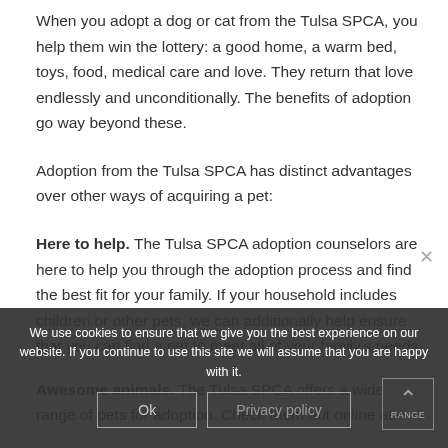When you adopt a dog or cat from the Tulsa SPCA, you help them win the lottery: a good home, a warm bed, toys, food, medical care and love. They return that love endlessly and unconditionally. The benefits of adoption go way beyond these.
Adoption from the Tulsa SPCA has distinct advantages over other ways of acquiring a pet:
Here to help. The Tulsa SPCA adoption counselors are here to help you through the adoption process and find the best fit for your family. If your household includes children or other pets, we can additionally help ensure that you can find a pet to meet all of your family's needs.
Awesome animals. The Tulsa SPCA offers a wide range of pets for adoption. Check them out online at
We use cookies to ensure that we give you the best experience on our website. If you continue to use this site we will assume that you are happy with it.